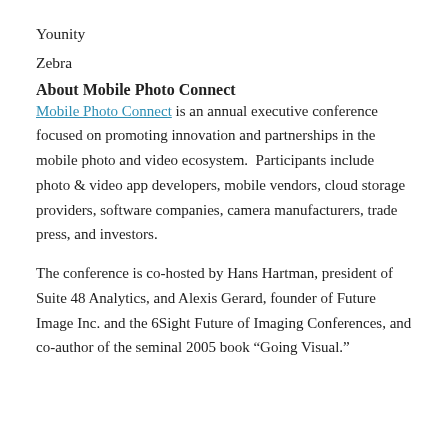Younity
Zebra
About Mobile Photo Connect
Mobile Photo Connect is an annual executive conference focused on promoting innovation and partnerships in the mobile photo and video ecosystem.  Participants include photo & video app developers, mobile vendors, cloud storage providers, software companies, camera manufacturers, trade press, and investors.
The conference is co-hosted by Hans Hartman, president of Suite 48 Analytics, and Alexis Gerard, founder of Future Image Inc. and the 6Sight Future of Imaging Conferences, and co-author of the seminal 2005 book “Going Visual.”